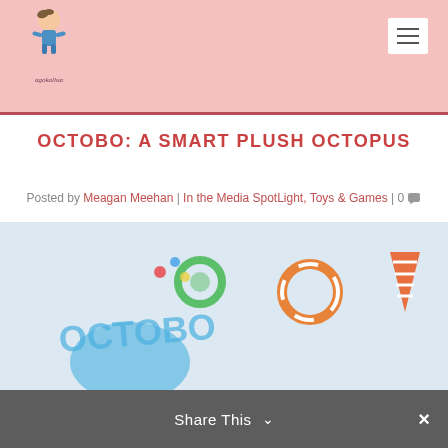agokallua
OCTOBO: A SMART PLUSH OCTOPUS
Posted by Meagan Meehan | In the Media SpotLight, Toys & Games | 0
[Figure (photo): Colorful photo showing Octobo smart plush octopus toy with colorful accessories/pieces scattered on a light surface]
Share This